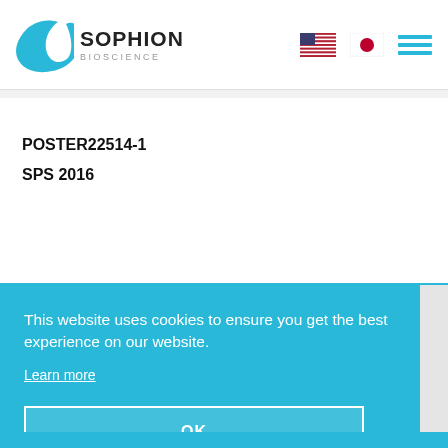[Figure (logo): Sophion Bioscience logo with teal swoosh C shape and company name]
POSTER22514-1
SPS 2016
This website uses cookies to ensure you get the best experience on our website.
Learn more
OK